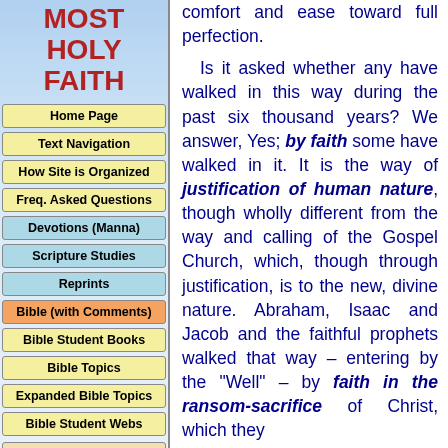MOST HOLY FAITH
Home Page
Text Navigation
How Site is Organized
Freq. Asked Questions
Devotions (Manna)
Scripture Studies
Reprints
Bible (with Comments)
Bible Student Books
Bible Topics
Expanded Bible Topics
Bible Student Webs
Miscellaneous
comfort and ease toward full perfection.

Is it asked whether any have walked in this way during the past six thousand years? We answer, Yes; by faith some have walked in it. It is the way of justification of human nature, though wholly different from the way and calling of the Gospel Church, which, though through justification, is to the new, divine nature. Abraham, Isaac and Jacob and the faithful prophets walked that way – entering by the "Well" – by faith in the ransom-sacrifice of Christ, which they